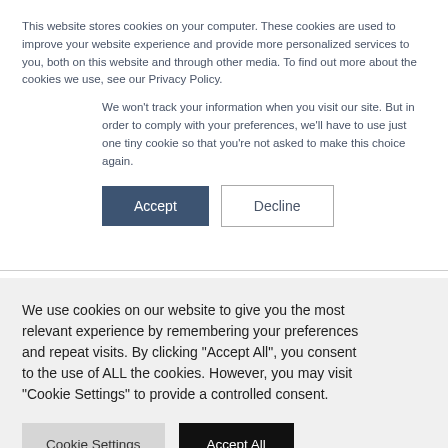This website stores cookies on your computer. These cookies are used to improve your website experience and provide more personalized services to you, both on this website and through other media. To find out more about the cookies we use, see our Privacy Policy.
We won't track your information when you visit our site. But in order to comply with your preferences, we'll have to use just one tiny cookie so that you're not asked to make this choice again.
Accept
Decline
We use cookies on our website to give you the most relevant experience by remembering your preferences and repeat visits. By clicking "Accept All", you consent to the use of ALL the cookies. However, you may visit "Cookie Settings" to provide a controlled consent.
Cookie Settings
Accept All